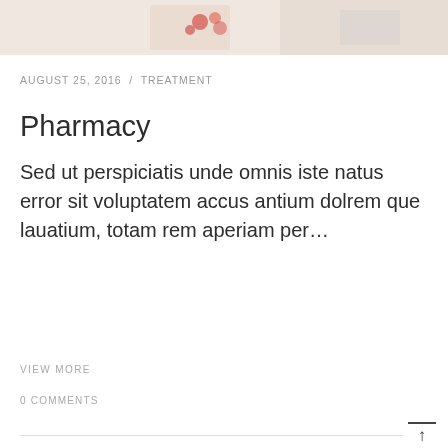[Figure (photo): Top cropped photo showing pills/medication and a person, light warm-toned background]
AUGUST 25, 2016  /  TREATMENT
Pharmacy
Sed ut perspiciatis unde omnis iste natus error sit voluptatem accus antium dolrem que lauatium, totam rem aperiam per…
VIEW MORE
0 COMMENTS
[Figure (photo): Three partial photos at the bottom of the page showing medical/healthcare subjects — a doctor, a bottle, and a patient side profile]